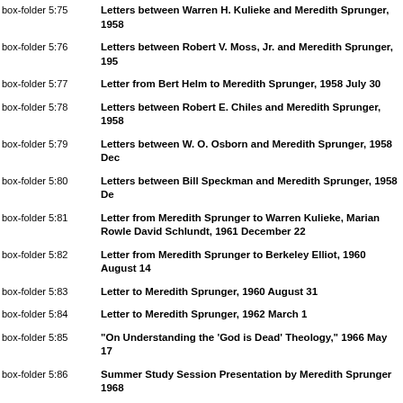box-folder 5:75 | Letters between Warren H. Kulieke and Meredith Sprunger, 1958
box-folder 5:76 | Letters between Robert V. Moss, Jr. and Meredith Sprunger, 195
box-folder 5:77 | Letter from Bert Helm to Meredith Sprunger, 1958 July 30
box-folder 5:78 | Letters between Robert E. Chiles and Meredith Sprunger, 1958
box-folder 5:79 | Letters between W. O. Osborn and Meredith Sprunger, 1958 Dec
box-folder 5:80 | Letters between Bill Speckman and Meredith Sprunger, 1958 De
box-folder 5:81 | Letter from Meredith Sprunger to Warren Kulieke, Marian Rowle David Schlundt, 1961 December 22
box-folder 5:82 | Letter from Meredith Sprunger to Berkeley Elliot, 1960 August 14
box-folder 5:83 | Letter to Meredith Sprunger, 1960 August 31
box-folder 5:84 | Letter to Meredith Sprunger, 1962 March 1
box-folder 5:85 | "On Understanding the 'God is Dead' Theology," 1966 May 17
box-folder 5:86 | Summer Study Session Presentation by Meredith Sprunger 1968